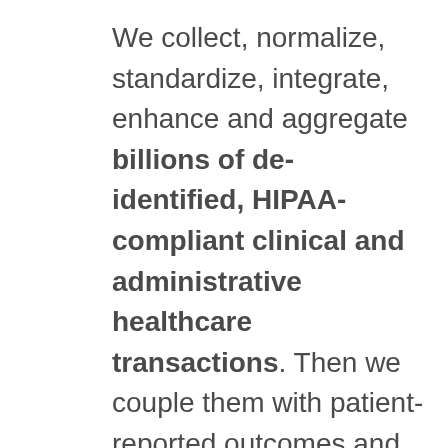We collect, normalize, standardize, integrate, enhance and aggregate billions of de-identified, HIPAA-compliant clinical and administrative healthcare transactions. Then we couple them with patient-reported outcomes and point-of-sale data, as well as demographic and psychographic information, in a highly efficient analytic environment overlaid with state-of-the-art machine learning and analytic toolsets. This enables our